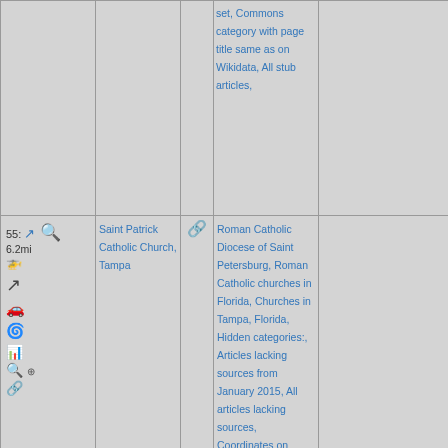| Controls | Name | Link | Categories | Image |
| --- | --- | --- | --- | --- |
|  |  |  | set, Commons category with page title same as on Wikidata, All stub articles, |  |
| 55: 6.2mi [icons] | Saint Patrick Catholic Church, Tampa | [link] | Roman Catholic Diocese of Saint Petersburg, Roman Catholic churches in Florida, Churches in Tampa, Florida, Hidden categories:, Articles lacking sources from January 2015, All articles lacking sources, Coordinates on Wikidata, |  |
| 56: 6.2mi [icons] | Roman Catholic Diocese of Saint Peter- | [link] | Religious organizations established in 1968, Roman Catholic dioce- | [church photo] |